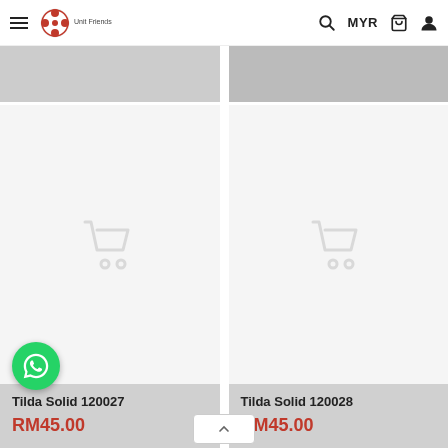[Figure (screenshot): E-commerce website header with hamburger menu, unit friends logo, search icon, MYR currency, cart icon, and user icon]
[Figure (photo): Two product cards showing Tilda Solid fabric items with placeholder cart icons]
Tilda Solid 120027
RM45.00
Tilda Solid 120028
RM45.00